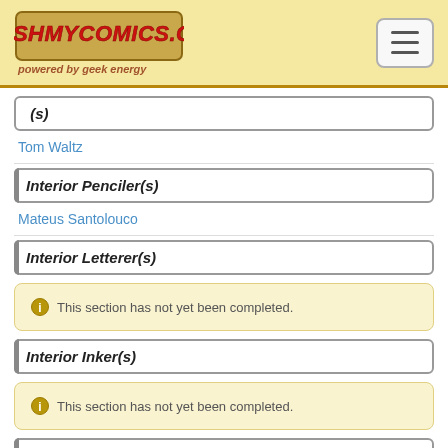StashMyComics.com powered by geek energy
Interior Penciler(s)
Tom Waltz
Interior Penciler(s)
Mateus Santolouco
Interior Letterer(s)
This section has not yet been completed.
Interior Inker(s)
This section has not yet been completed.
Interior Colorist(s)
This section has not yet been completed.
Cover Penciler(s)